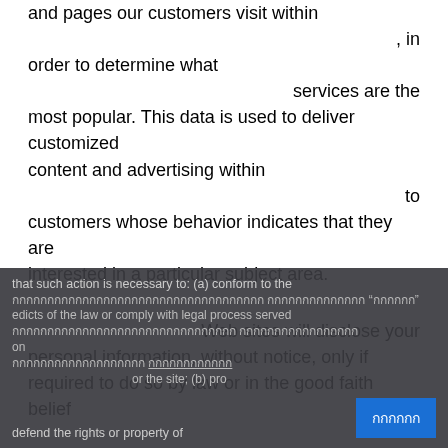and pages our customers visit within , in order to determine what services are the most popular. This data is used to deliver customized content and advertising within to customers whose behavior indicates that they are interested in a particular subject area.
Web sites will disclose your personal information, without notice, only if required to do so by law or in the good faith belief that such action is necessary to: (a) conform to the edicts of the law or comply with legal process served on or the site; (b) pro defend the rights or property of